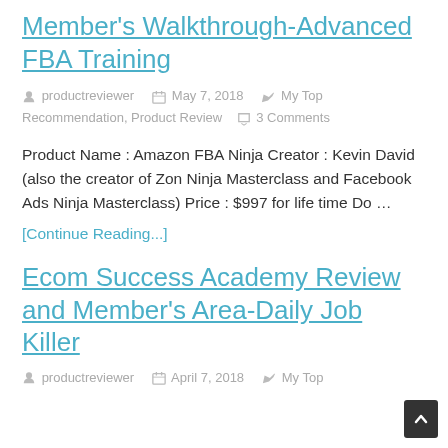Member's Walkthrough-Advanced FBA Training
productreviewer   May 7, 2018   My Top Recommendation, Product Review   3 Comments
Product Name : Amazon FBA Ninja Creator : Kevin David (also the creator of Zon Ninja Masterclass and Facebook Ads Ninja Masterclass) Price : $997 for life time Do …
[Continue Reading...]
Ecom Success Academy Review and Member's Area-Daily Job Killer
productreviewer   April 7, 2018   My Top